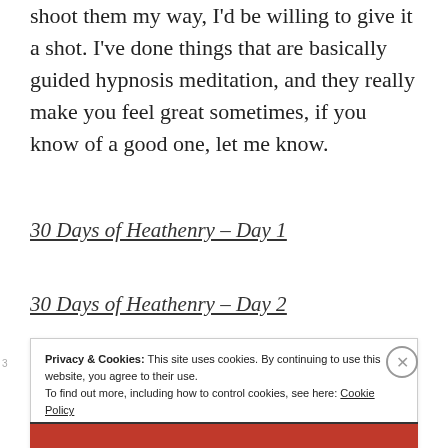shoot them my way, I'd be willing to give it a shot. I've done things that are basically guided hypnosis meditation, and they really make you feel great sometimes, if you know of a good one, let me know.
30 Days of Heathenry – Day 1
30 Days of Heathenry – Day 2
Privacy & Cookies: This site uses cookies. By continuing to use this website, you agree to their use.
To find out more, including how to control cookies, see here: Cookie Policy
Close and accept